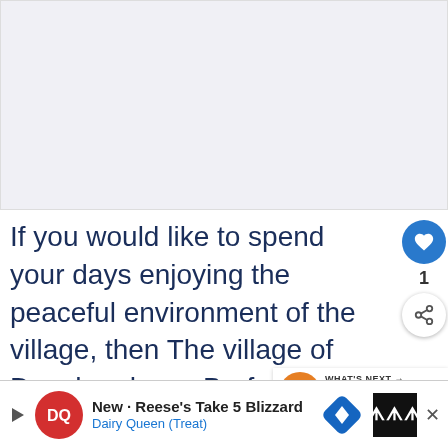[Figure (other): Blank/empty image placeholder area at the top of the page]
If you would like to spend your days enjoying the peaceful environment of the village, then The village of Dunchurch or r Barford village can be a great option. Spending your eve[nings in] the old coach houses or thatched cottages with your loved ones is not a b[ad idea...]
[Figure (other): ONLINE STARTUPS orange circle logo badge]
WHAT'S NEXT → 23 Main Pros and Cons of...
[Figure (other): Dairy Queen advertisement banner - New - Reese's Take 5 Blizzard]